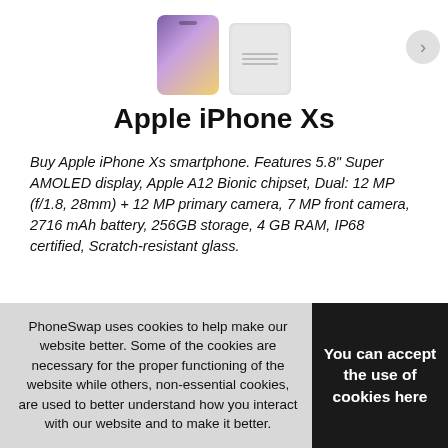[Figure (photo): Product images: Apple iPhone Xs (purple/gold gradient) and a white charger/box, with a right navigation arrow]
Apple iPhone Xs
Buy Apple iPhone Xs smartphone. Features 5.8" Super AMOLED display, Apple A12 Bionic chipset, Dual: 12 MP (f/1.8, 28mm) + 12 MP primary camera, 7 MP front camera, 2716 mAh battery, 256GB storage, 4 GB RAM, IP68 certified, Scratch-resistant glass.
Condition: New phone
Storage: 256GB
Network: Any sim / Unlocked
Colour: Silver
Grade: Brand New
PhoneSwap uses cookies to help make our website better. Some of the cookies are necessary for the proper functioning of the website while others, non-essential cookies, are used to better understand how you interact with our website and to make it better.
You can accept the use of cookies here